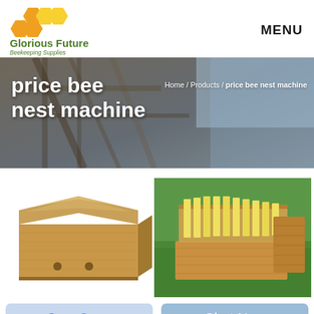[Figure (logo): Glorious Future Beekeeping Supplies logo with hexagon shapes in orange and yellow]
MENU
price bee nest machine
Home / Products / price bee nest machine
[Figure (photo): Wooden beehive box (pine wood, light tan color) with ventilation holes]
[Figure (photo): Open beehive box with yellow plastic frames on green grass background]
Get a Quote
Chat Now